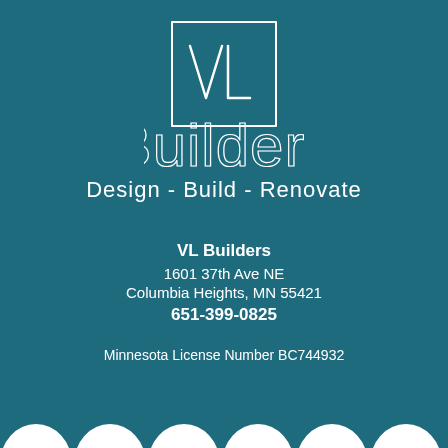[Figure (logo): VL Builders handwritten-style logo inside a sketched rectangle, with large outlined 'Builders' text and tagline 'Design - Build - Renovate' on teal background]
VL Builders
1601 37th Ave NE
Columbia Heights, MN 55421
651-399-0825
Minnesota License Number BC744932